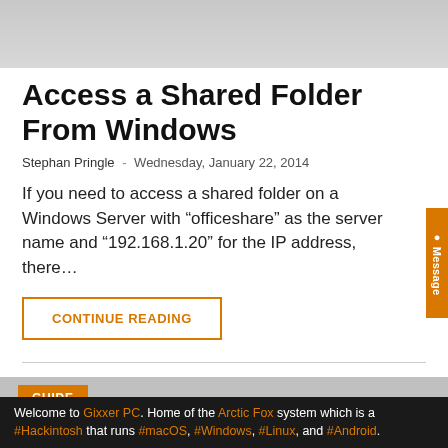[Figure (photo): Gray header image area at top of page]
Access a Shared Folder From Windows
Stephan Pringle  -  Wednesday, January 22, 2014
If you need to access a shared folder on a Windows Server with “officeshare” as the server name and “192.168.1.20” for the IP address, there…
CONTINUE READING
[Figure (screenshot): Bottom partial preview area with gray background and orange GUIDE button]
Welcome to Gixxer PC. Home of the Arctic Fox system which is a #Hackintosh that runs #macOS, #Windows, #Linux, and #Android.